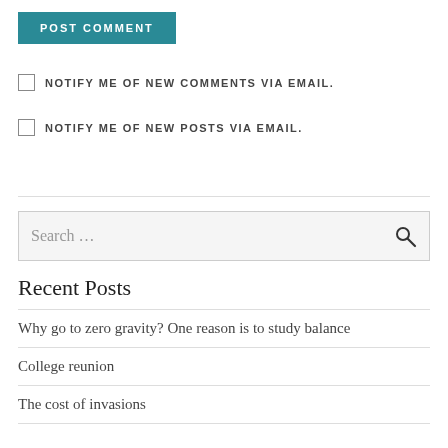POST COMMENT
NOTIFY ME OF NEW COMMENTS VIA EMAIL.
NOTIFY ME OF NEW POSTS VIA EMAIL.
Search ...
Recent Posts
Why go to zero gravity? One reason is to study balance
College reunion
The cost of invasions